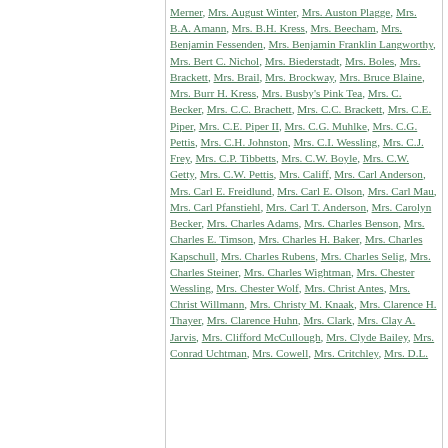Merner, Mrs. August Winter, Mrs. Auston Plagge, Mrs. B.A. Amann, Mrs. B.H. Kress, Mrs. Beecham, Mrs. Benjamin Fessenden, Mrs. Benjamin Franklin Langworthy, Mrs. Bert C. Nichol, Mrs. Biederstadt, Mrs. Boles, Mrs. Brackett, Mrs. Brail, Mrs. Brockway, Mrs. Bruce Blaine, Mrs. Burr H. Kress, Mrs. Busby's Pink Tea, Mrs. C. Becker, Mrs. C.C. Brachett, Mrs. C.C. Brackett, Mrs. C.E. Piper, Mrs. C.E. Piper II, Mrs. C.G. Muhlke, Mrs. C.G. Pettis, Mrs. C.H. Johnston, Mrs. C.I. Wessling, Mrs. C.J. Frey, Mrs. C.P. Tibbetts, Mrs. C.W. Boyle, Mrs. C.W. Getty, Mrs. C.W. Pettis, Mrs. Califf, Mrs. Carl Anderson, Mrs. Carl E. Freidlund, Mrs. Carl E. Olson, Mrs. Carl Mau, Mrs. Carl Pfanstiehl, Mrs. Carl T. Anderson, Mrs. Carolyn Becker, Mrs. Charles Adams, Mrs. Charles Benson, Mrs. Charles E. Timson, Mrs. Charles H. Baker, Mrs. Charles Kapschull, Mrs. Charles Rubens, Mrs. Charles Selig, Mrs. Charles Steiner, Mrs. Charles Wightman, Mrs. Chester Wessling, Mrs. Chester Wolf, Mrs. Christ Antes, Mrs. Christ Willmann, Mrs. Christy M. Knaak, Mrs. Clarence H. Thayer, Mrs. Clarence Huhn, Mrs. Clark, Mrs. Clay A. Jarvis, Mrs. Clifford McCullough, Mrs. Clyde Bailey, Mrs. Conrad Uchtman, Mrs. Cowell, Mrs. Critchley, Mrs. D.L.